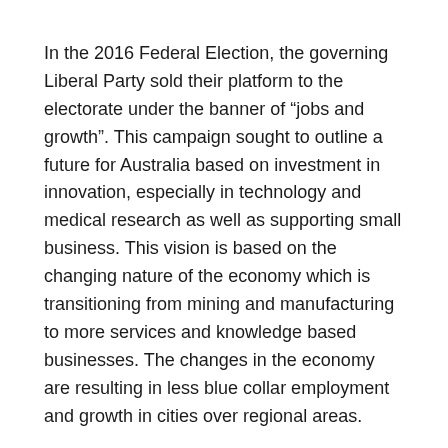In the 2016 Federal Election, the governing Liberal Party sold their platform to the electorate under the banner of “jobs and growth”. This campaign sought to outline a future for Australia based on investment in innovation, especially in technology and medical research as well as supporting small business. This vision is based on the changing nature of the economy which is transitioning from mining and manufacturing to more services and knowledge based businesses. The changes in the economy are resulting in less blue collar employment and growth in cities over regional areas.
The electorate responded by nearly voting out the coalition government and handing over control of the Senate to One Nation, the Liberal Democrats and Derryn Hinch.
While Donald Trump campaigned on a platform of economic growth, under the slogan Make America Great Again, his program was backwards looking, focusing on renewing